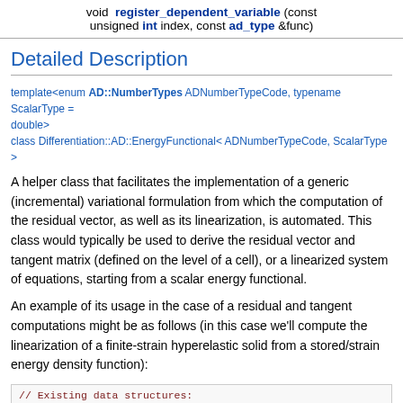void register_dependent_variable (const unsigned int index, const ad_type &func)
Detailed Description
template<enum AD::NumberTypes ADNumberTypeCode, typename ScalarType = double>
class Differentiation::AD::EnergyFunctional< ADNumberTypeCode, ScalarType >
A helper class that facilitates the implementation of a generic (incremental) variational formulation from which the computation of the residual vector, as well as its linearization, is automated. This class would typically be used to derive the residual vector and tangent matrix (defined on the level of a cell), or a linearized system of equations, starting from a scalar energy functional.
An example of its usage in the case of a residual and tangent computations might be as follows (in this case we'll compute the linearization of a finite-strain hyperelastic solid from a stored/strain energy density function):
// Existing data structures: